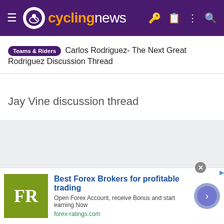cyclingnews
Teams & Riders Carlos Rodriguez- The Next Great Rodriguez Discussion Thread
Jay Vine discussion thread
[Figure (other): Gray placeholder content area]
[Figure (other): Advertisement banner: FR logo, Best Forex Brokers for profitable trading, Open Forex Account, receive Bonus and start earning Now, forex-ratings.com]